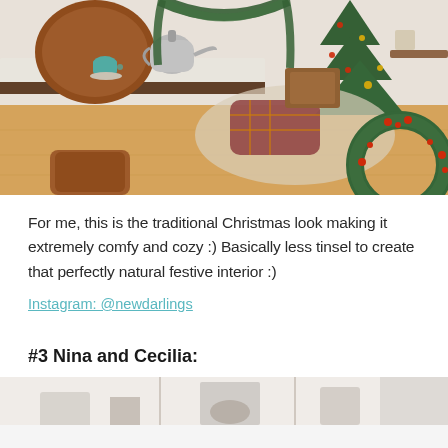[Figure (photo): A cozy Christmas-decorated dining room with brown leather chairs, a wooden table with a silver kettle and teal mug, a decorated Christmas tree in the background, garlands on a doorway arch, a patterned area rug, hardwood floors, and a large Christmas wreath leaning against the wall on the right.]
For me, this is the traditional Christmas look making it extremely comfy and cozy :) Basically less tinsel to create that perfectly natural festive interior :)
Instagram: @newdarlings
#3 Nina and Cecilia:
[Figure (photo): Bottom portion of a photo showing a white/winter Christmas interior scene, partially visible at the bottom of the page.]